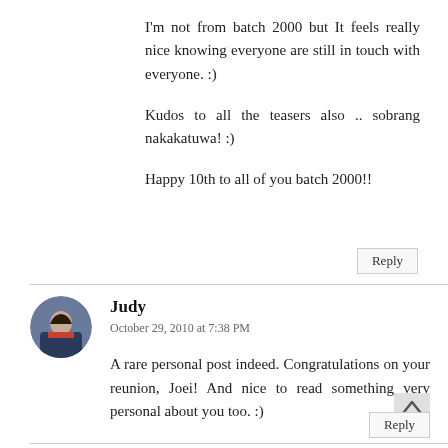I'm not from batch 2000 but It feels really nice knowing everyone are still in touch with everyone. :)
Kudos to all the teasers also .. sobrang nakakatuwa! :)
Happy 10th to all of you batch 2000!!
Reply
Judy
October 29, 2010 at 7:38 PM
A rare personal post indeed. Congratulations on your reunion, Joei! And nice to read something very personal about you too. :)
Reply